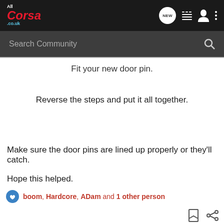AllCorsa.co.uk — navigation header with logo, NEW, list, user, and menu icons
Search Community
Fit your new door pin.
Reverse the steps and put it all together.
Make sure the door pins are lined up properly or they'll catch.

Hope this helped.
boom, Hardcore, ADam and 1 other person